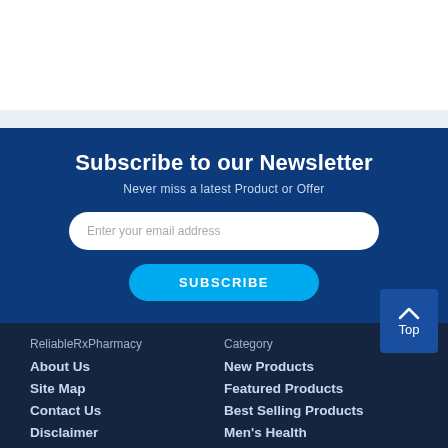Subscribe to our Newsletter
Never miss a latest Product or Offer
Enter your email address
SUBSCRIBE
Top
ReliableRxPharmacy
Category
About Us
Site Map
Contact Us
Disclaimer
New Products
Featured Products
Best Selling Products
Men's Health